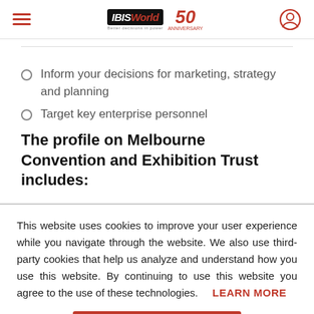IBISWorld 50th Anniversary
Inform your decisions for marketing, strategy and planning
Target key enterprise personnel
The profile on Melbourne Convention and Exhibition Trust includes:
This website uses cookies to improve your user experience while you navigate through the website. We also use third-party cookies that help us analyze and understand how you use this website. By continuing to use this website you agree to the use of these technologies. LEARN MORE
ACCEPT